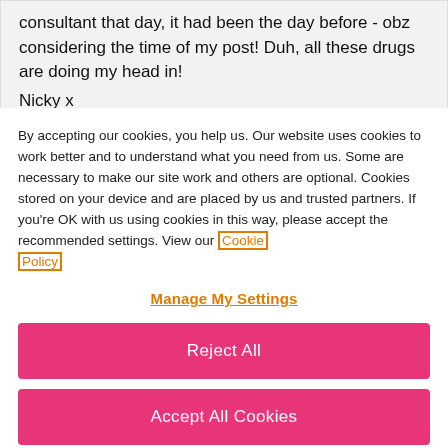consultant that day, it had been the day before - obz considering the time of my post! Duh, all these drugs are doing my head in!
Nicky x
By accepting our cookies, you help us. Our website uses cookies to work better and to understand what you need from us. Some are necessary to make our site work and others are optional. Cookies stored on your device and are placed by us and trusted partners. If you're OK with us using cookies in this way, please accept the recommended settings. View our Cookie Policy
Manage My Settings
Reject All
Accept All Cookies